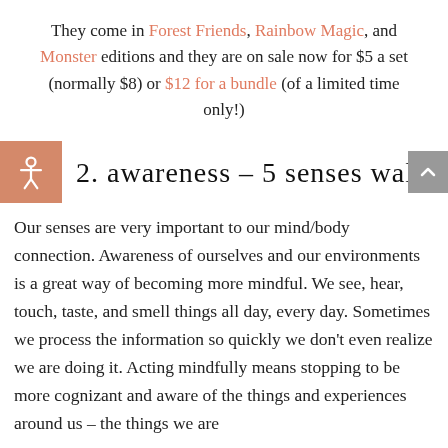They come in Forest Friends, Rainbow Magic, and Monster editions and they are on sale now for $5 a set (normally $8) or $12 for a bundle (of a limited time only!)
2. awareness – 5 senses walk
Our senses are very important to our mind/body connection. Awareness of ourselves and our environments is a great way of becoming more mindful. We see, hear, touch, taste, and smell things all day, every day. Sometimes we process the information so quickly we don't even realize we are doing it. Acting mindfully means stopping to be more cognizant and aware of the things and experiences around us – the things we are